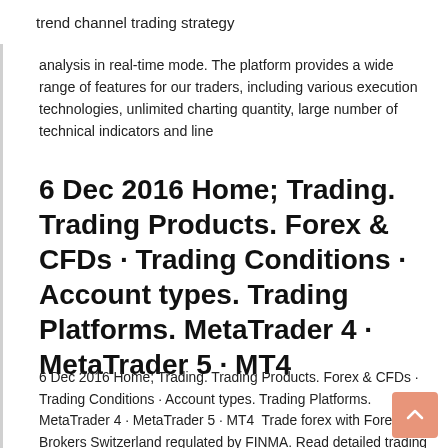trend channel trading strategy
analysis in real-time mode. The platform provides a wide range of features for our traders, including various execution technologies, unlimited charting quantity, large number of technical indicators and line
6 Dec 2016 Home; Trading. Trading Products. Forex & CFDs · Trading Conditions · Account types. Trading Platforms. MetaTrader 4 · MetaTrader 5 · MT4
6 Dec 2016 Home; Trading. Trading Products. Forex & CFDs · Trading Conditions · Account types. Trading Platforms. MetaTrader 4 · MetaTrader 5 · MT4  Trade forex with Forex Brokers Switzerland regulated by FINMA. Read detailed trading Trading Platforms: CornerTrader Platform. Regulation: FINMA.